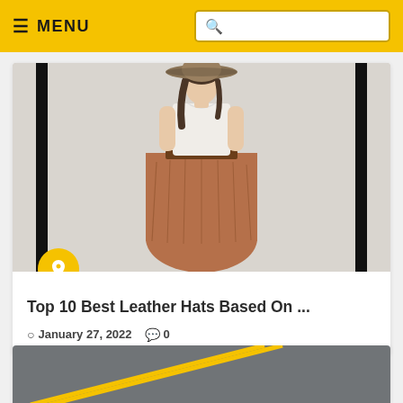≡ MENU
[Figure (photo): Woman wearing a wide-brim hat, white t-shirt, and rust-colored maxi skirt, standing against a light background. Two black vertical bars flank the image. A yellow circular pin icon overlaps the bottom-left of the image.]
Top 10 Best Leather Hats Based On ...
© January 27, 2022  💬 0
[Figure (photo): Road surface with yellow double center line stripes, partial view at bottom of page.]